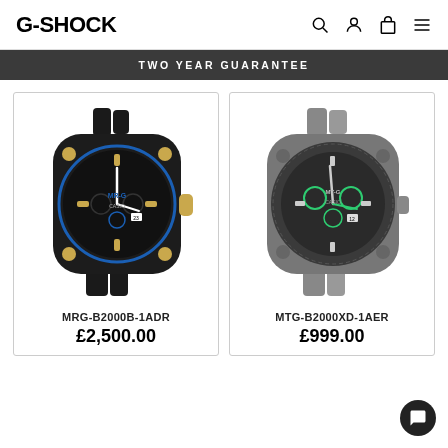G-SHOCK
TWO YEAR GUARANTEE
[Figure (photo): G-SHOCK MRG-B2000B-1ADR black and gold watch with blue accents on metal bracelet]
MRG-B2000B-1ADR
£2,500.00
[Figure (photo): G-SHOCK MTG-B2000XD-1AER grey and silver watch with green accents on metal bracelet]
MTG-B2000XD-1AER
£999.00